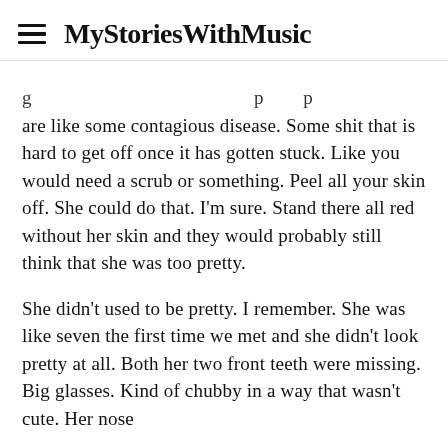MyStoriesWithMusic
are like some contagious disease. Some shit that is hard to get off once it has gotten stuck. Like you would need a scrub or something. Peel all your skin off. She could do that. I'm sure. Stand there all red without her skin and they would probably still think that she was too pretty.
She didn't used to be pretty. I remember. She was like seven the first time we met and she didn't look pretty at all. Both her two front teeth were missing. Big glasses. Kind of chubby in a way that wasn't cute. Her nose